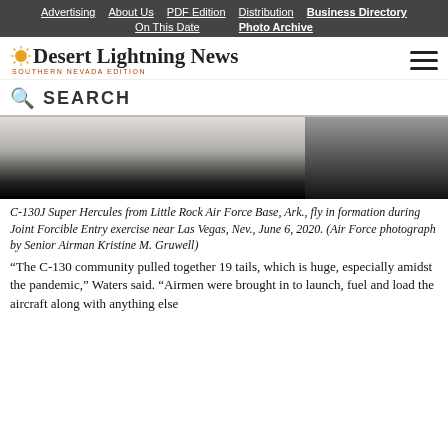Advertising | About Us | PDF Edition | Distribution | Business Directory | On This Date | Photo Archive
Desert Lightning News — Southern Nevada Edition
SEARCH
[Figure (photo): C-130J Super Hercules aircraft flying in formation, partially visible, dark silhouette against light sky.]
C-130J Super Hercules from Little Rock Air Force Base, Ark., fly in formation during Joint Forcible Entry exercise near Las Vegas, Nev., June 6, 2020. (Air Force photograph by Senior Airman Kristine M. Gruwell)
“The C-130 community pulled together 19 tails, which is huge, especially amidst the pandemic,” Waters said. “Airmen were brought in to launch, fuel and load the aircraft along with anything else